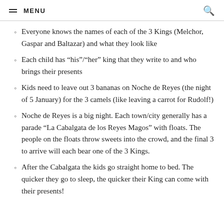MENU
Everyone knows the names of each of the 3 Kings (Melchor, Gaspar and Baltazar) and what they look like
Each child has “his”/“her” king that they write to and who brings their presents
Kids need to leave out 3 bananas on Noche de Reyes (the night of 5 January) for the 3 camels (like leaving a carrot for Rudolf!)
Noche de Reyes is a big night. Each town/city generally has a parade “La Cabalgata de los Reyes Magos” with floats. The people on the floats throw sweets into the crowd, and the final 3 to arrive will each bear one of the 3 Kings.
After the Cabalgata the kids go straight home to bed. The quicker they go to sleep, the quicker their King can come with their presents!